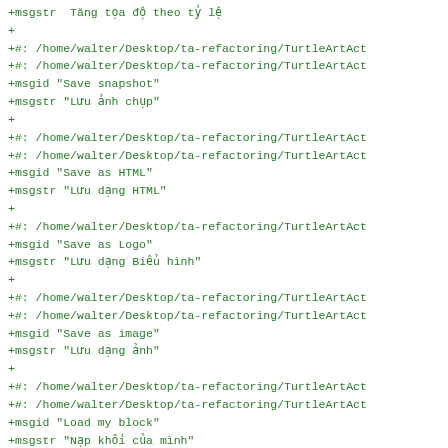+msgstr  Tăng tọa độ theo tỷ lệ
+
+#: /home/walter/Desktop/ta-refactoring/TurtleArtAct
+#: /home/walter/Desktop/ta-refactoring/TurtleArtAct
+msgid "Save snapshot"
+msgstr "Lưu ảnh chụp"
+
+#: /home/walter/Desktop/ta-refactoring/TurtleArtAct
+#: /home/walter/Desktop/ta-refactoring/TurtleArtAct
+msgid "Save as HTML"
+msgstr "Lưu dạng HTML"
+
+#: /home/walter/Desktop/ta-refactoring/TurtleArtAct
+msgid "Save as Logo"
+msgstr "Lưu dạng Biểu hình"
+
+#: /home/walter/Desktop/ta-refactoring/TurtleArtAct
+#: /home/walter/Desktop/ta-refactoring/TurtleArtAct
+msgid "Save as image"
+msgstr "Lưu dạng ảnh"
+
+#: /home/walter/Desktop/ta-refactoring/TurtleArtAct
+#: /home/walter/Desktop/ta-refactoring/TurtleArtAct
+msgid "Load my block"
+msgstr "Nạp khối của mình"
+
+#: /home/walter/Desktop/ta-refactoring/TurtleArtAct
+#: /home/walter/Desktop/ta-refactoring/TurtleArtAct
+msgid "Import project from the Journal"
+msgstr "Nhập dự án từ Nhật ký"